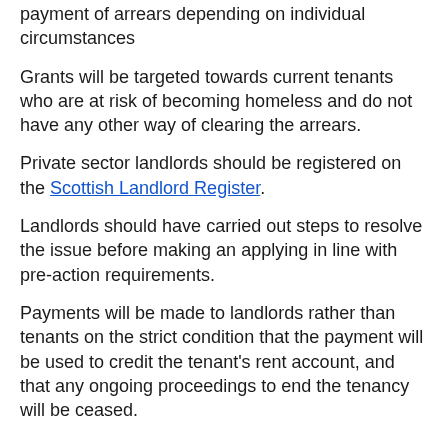payment of arrears depending on individual circumstances
Grants will be targeted towards current tenants who are at risk of becoming homeless and do not have any other way of clearing the arrears.
Private sector landlords should be registered on the Scottish Landlord Register.
Landlords should have carried out steps to resolve the issue before making an applying in line with pre-action requirements.
Payments will be made to landlords rather than tenants on the strict condition that the payment will be used to credit the tenant's rent account, and that any ongoing proceedings to end the tenancy will be ceased.